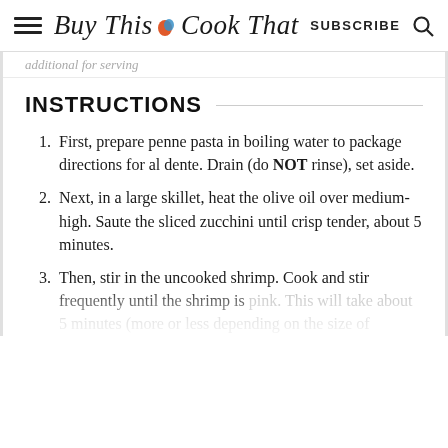Buy This Cook That | SUBSCRIBE
additional for serving
INSTRUCTIONS
First, prepare penne pasta in boiling water to package directions for al dente. Drain (do NOT rinse), set aside.
Next, in a large skillet, heat the olive oil over medium-high. Saute the sliced zucchini until crisp tender, about 5 minutes.
Then, stir in the uncooked shrimp. Cook and stir frequently until the shrimp is pink. This will take about 5 minutes (more or less depending on the size of